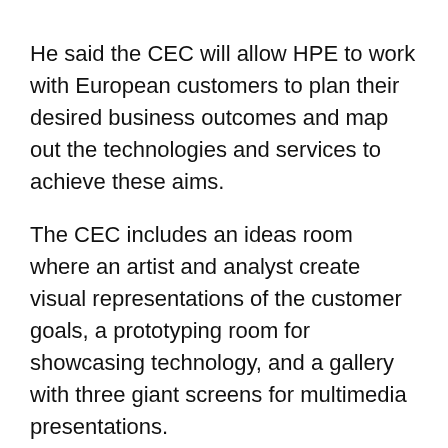He said the CEC will allow HPE to work with European customers to plan their desired business outcomes and map out the technologies and services to achieve these aims.
The CEC includes an ideas room where an artist and analyst create visual representations of the customer goals, a prototyping room for showcasing technology, and a gallery with three giant screens for multimedia presentations.
The advice provided by the center may or may not be billed to the customer, depending on the level of "engagement", according to HPE's CEC chief,